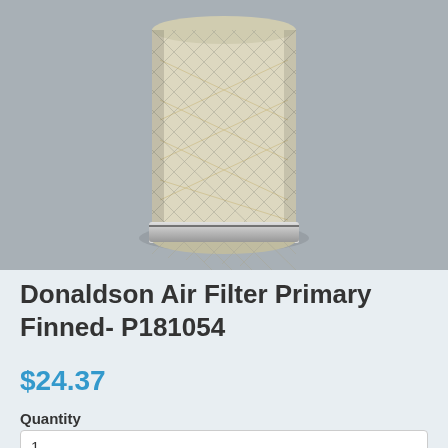[Figure (photo): Cylindrical Donaldson air filter element with metal mesh outer casing on gray background]
Donaldson Air Filter Primary Finned- P181054
$24.37
Quantity
1